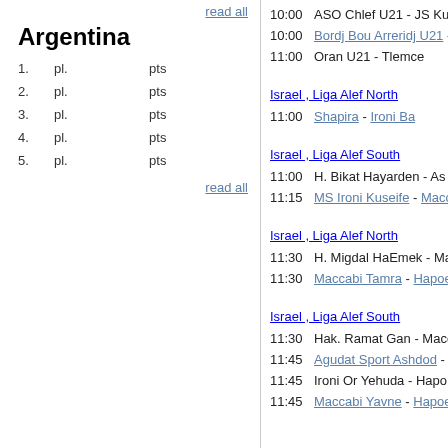read all
Argentina
| # | pl. | pts |
| --- | --- | --- |
| 1. | pl. | pts |
| 2. | pl. | pts |
| 3. | pl. | pts |
| 4. | pl. | pts |
| 5. | pl. | pts |
read all
Israel , Liga Alef North
10:00   ASO Chlef U21 - JS Ku...
10:00   Bordj Bou Arreridj U21 - RC...
11:00   Oran U21 - Tlemce...
Israel , Liga Alef North
11:00   Shapira - Ironi Ba...
Israel , Liga Alef South
11:00   H. Bikat Hayarden - As...
11:15   MS Ironi Kuseife - Macc...
Israel , Liga Alef North
11:30   H. Migdal HaEmek - Maccab...
11:30   Maccabi Tamra - Hapoel B...
Israel , Liga Alef South
11:30   Hak. Ramat Gan - Maccabi S...
11:45   Agudat Sport Ashdod - S...
11:45   Ironi Or Yehuda - Hapo...
11:45   Maccabi Yavne - Hapoel...